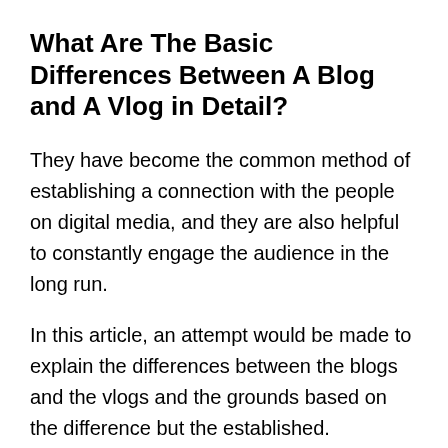What Are The Basic Differences Between A Blog and A Vlog in Detail?
They have become the common method of establishing a connection with the people on digital media, and they are also helpful to constantly engage the audience in the long run.
In this article, an attempt would be made to explain the differences between the blogs and the vlogs and the grounds based on the difference but the established.
What is a Blog?